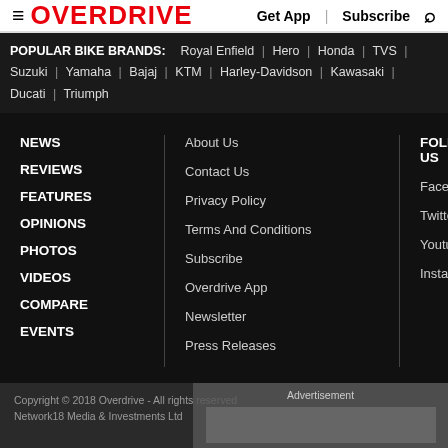≡ OVERDRIVE | Get App | Subscribe 🔍
POPULAR BIKE BRANDS: Royal Enfield | Hero | Honda | TVS | Suzuki | Yamaha | Bajaj | KTM | Harley-Davidson | Kawasaki | Ducati | Triumph
NEWS
REVIEWS
FEATURES
OPINIONS
PHOTOS
VIDEOS
COMPARE
EVENTS
About Us
Contact Us
Privacy Policy
Terms And Conditions
Subscribe
Overdrive App
Newsletter
Press Releases
FOLLOW US
Facebook
Twitter
Youtube
Instagram
Copyright © 2018 Overdrive - All rights reserved Network18 Media & Investments Ltd
Advertisement